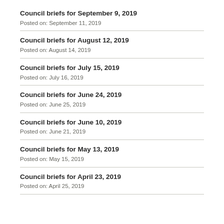Council briefs for September 9, 2019
Posted on: September 11, 2019
Council briefs for August 12, 2019
Posted on: August 14, 2019
Council briefs for July 15, 2019
Posted on: July 16, 2019
Council briefs for June 24, 2019
Posted on: June 25, 2019
Council briefs for June 10, 2019
Posted on: June 21, 2019
Council briefs for May 13, 2019
Posted on: May 15, 2019
Council briefs for April 23, 2019
Posted on: April 25, 2019